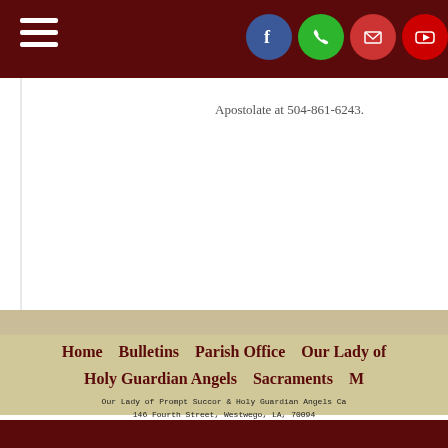Apostolate at 504-861-6243.
Home    Bulletins    Parish Office    Our Lady of
Holy Guardian Angels    Sacraments    M
Our Lady of Prompt Succor & Holy Guardian Angels Ca 146 Fourth Street, Westwego, LA, 70094 P: 504-341-9522 | F: 504-341-5957 Summer Office Hours Monday – Friday 9:00 am – mclements@arch-no.org